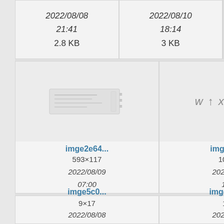[Figure (screenshot): File browser / image gallery grid showing thumbnail previews with filenames, dimensions, dates, and file sizes. Top row shows partial entries with dates 2022/08/08 21:41 2.8 KB and 2022/08/10 18:14 3 KB. Middle row: imge2e64... 593×117 2022/08/09 07:00 6 KB (thumbnail shows document-like image), imge4df7... 106×19 2022/08/09 14:22 3.2 KB (thumbnail shows w↑x↓y↕z symbols), and partial third entry. Bottom row: imge5c0... 9×17 2022/08/08 16:26 (thumbnail shows ζ symbol), imge5d13... 16×7 2022/08/08 16:31 (thumbnail shows →), and partial third entry.]